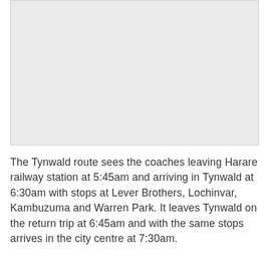[Figure (other): Gray placeholder image region at the top of the page]
The Tynwald route sees the coaches leaving Harare railway station at 5:45am and arriving in Tynwald at 6:30am with stops at Lever Brothers, Lochinvar, Kambuzuma and Warren Park. It leaves Tynwald on the return trip at 6:45am and with the same stops arrives in the city centre at 7:30am.